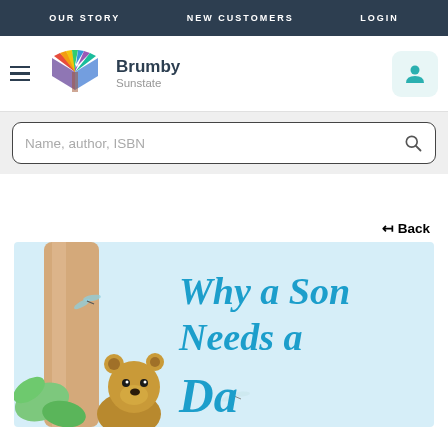OUR STORY   NEW CUSTOMERS   LOGIN
[Figure (logo): Brumby Sunstate logo with colorful open book graphic and hamburger menu icon on left, user account icon on right]
Name, author, ISBN
| Back
[Figure (illustration): Book cover illustration showing 'Why a Son Needs a Dad' title text in blue cursive lettering over a light blue background with a illustrated bear cub peeking from behind a tree trunk, with green leaves and a dragonfly]